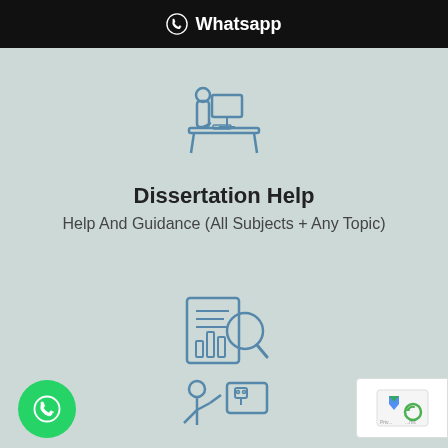Whatsapp
[Figure (illustration): Blue line-art icon of a person sitting at a desk with computer, representing dissertation/study]
Dissertation Help
Help And Guidance (All Subjects + Any Topic)
[Figure (illustration): Blue line-art icon of a document with a magnifying glass and bar chart, representing essay/research]
Essay Help
Help And Guidance (Any Topic)
[Figure (illustration): Blue line-art icon of a person with a presentation board, partially visible at bottom]